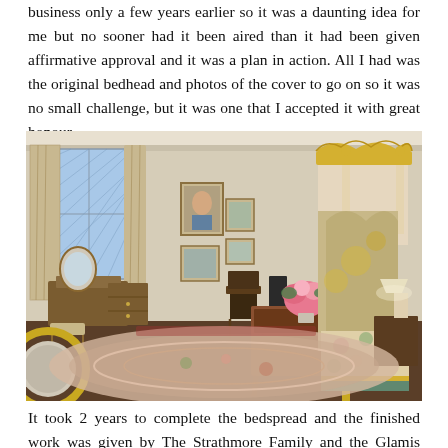business only a few years earlier so it was a daunting idea for me but no sooner had it been aired than it had been given affirmative approval and it was a plan in action. All I had was the original bedhead and photos of the cover to go on so it was no small challenge, but it was one that I accepted it with great honour.
[Figure (photo): A stately bedroom with an ornate four-poster bed with gilded frame and canopy, floral bedspread, a roll-top desk, antique chairs, patterned rugs, floral curtains, and paintings on the walls.]
It took 2 years to complete the bedspread and the finished work was given by The Strathmore Family and the Glamis Estate to HRH The